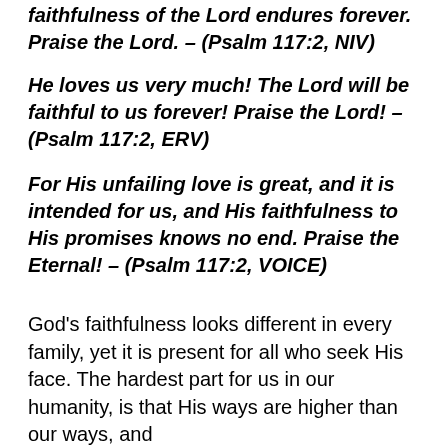faithfulness of the Lord endures forever. Praise the Lord. – (Psalm 117:2, NIV)
He loves us very much! The Lord will be faithful to us forever! Praise the Lord! – (Psalm 117:2, ERV)
For His unfailing love is great, and it is intended for us, and His faithfulness to His promises knows no end. Praise the Eternal! – (Psalm 117:2, VOICE)
God's faithfulness looks different in every family, yet it is present for all who seek His face. The hardest part for us in our humanity, is that His ways are higher than our ways, and